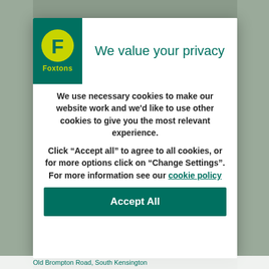[Figure (logo): Foxtons logo — green background block with yellow circle containing bold green letter F and yellow Foxtons text below]
We value your privacy
We use necessary cookies to make our website work and we'd like to use other cookies to give you the most relevant experience.
Click “Accept all” to agree to all cookies, or for more options click on “Change Settings”. For more information see our cookie policy
Accept All
Old Brompton Road, South Kensington